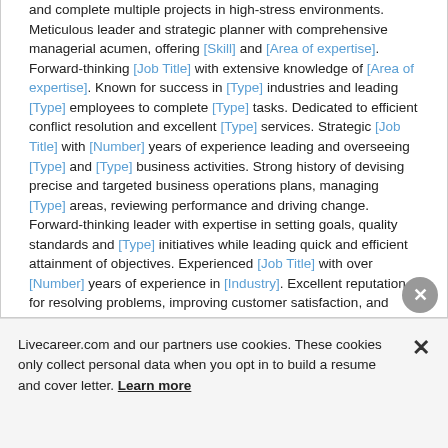and complete multiple projects in high-stress environments. Meticulous leader and strategic planner with comprehensive managerial acumen, offering [Skill] and [Area of expertise]. Forward-thinking [Job Title] with extensive knowledge of [Area of expertise]. Known for success in [Type] industries and leading [Type] employees to complete [Type] tasks. Dedicated to efficient conflict resolution and excellent [Type] services. Strategic [Job Title] with [Number] years of experience leading and overseeing [Type] and [Type] business activities. Strong history of devising precise and targeted business operations plans, managing [Type] areas, reviewing performance and driving change. Forward-thinking leader with expertise in setting goals, quality standards and [Type] initiatives while leading quick and efficient attainment of objectives. Experienced [Job Title] with over [Number] years of experience in [Industry]. Excellent reputation for resolving problems, improving customer satisfaction, and driving overall operational
Livecareer.com and our partners use cookies. These cookies only collect personal data when you opt in to build a resume and cover letter. Learn more